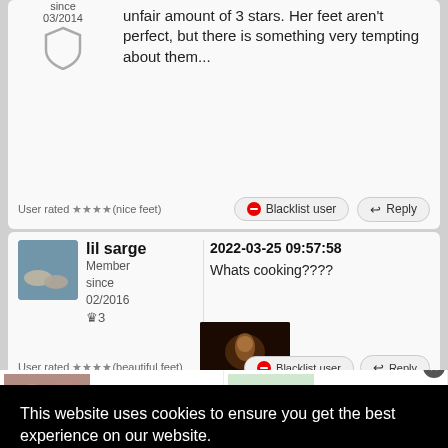unfair amount of 3 stars. Her feet aren't perfect, but there is something very tempting about them...
since 03/2014
User rated ★★★★(nice feet)
Blacklist user
Reply
lil sarge
Member since 02/2016
♛3
2022-03-25 09:57:58
Whats cooking????
User rated ★★★★(beautiful feet)
Blacklist user
Reply
This website uses cookies to ensure you get the best experience on our website.
Learn more
35 Common Body Languages That Says 'I Love You' #1 Is So Funny
Ad by Nuray
20 Cringeworthy Lamborghinis That Hurt Our Eyes and Brains!
Ad by PittyNews